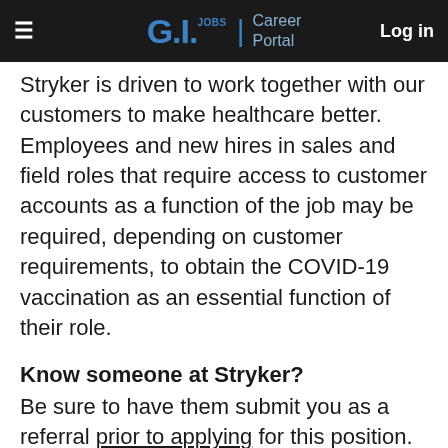GI.JOBS | Career Portal  Log in
Stryker is driven to work together with our customers to make healthcare better. Employees and new hires in sales and field roles that require access to customer accounts as a function of the job may be required, depending on customer requirements, to obtain the COVID-19 vaccination as an essential function of their role.
Know someone at Stryker?
Be sure to have them submit you as a referral prior to applying for this position.